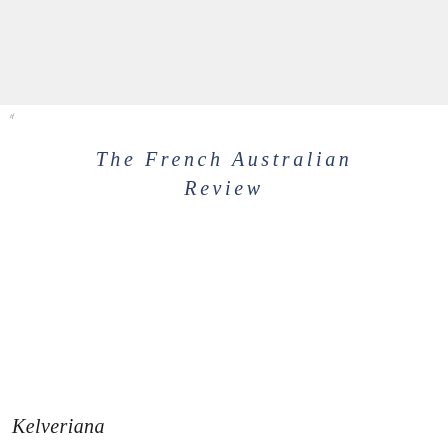if
The French Australian
Review
Kelveriana